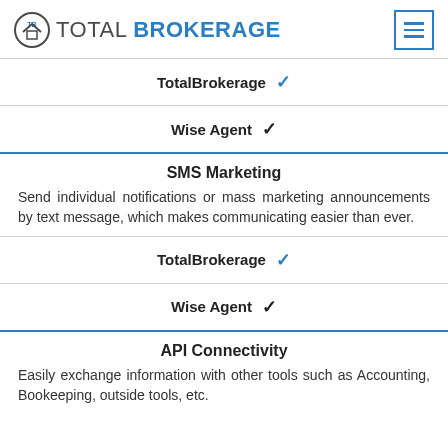TOTAL BROKERAGE
TotalBrokerage ✓
Wise Agent ✓
SMS Marketing
Send individual notifications or mass marketing announcements by text message, which makes communicating easier than ever.
TotalBrokerage ✓
Wise Agent ✓
API Connectivity
Easily exchange information with other tools such as Accounting, Bookeeping, outside tools, etc.